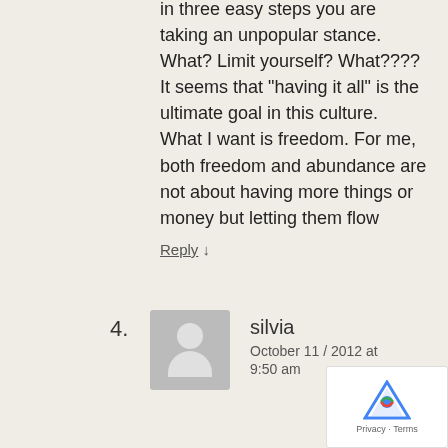in three easy steps you are taking an unpopular stance. What? Limit yourself? What???? It seems that "having it all" is the ultimate goal in this culture.
What I want is freedom. For me, both freedom and abundance are not about having more things or money but letting them flow
Reply ↓
4.
[Figure (illustration): Generic grey avatar silhouette icon]
silvia
October 11 / 2012 at
9:50 am